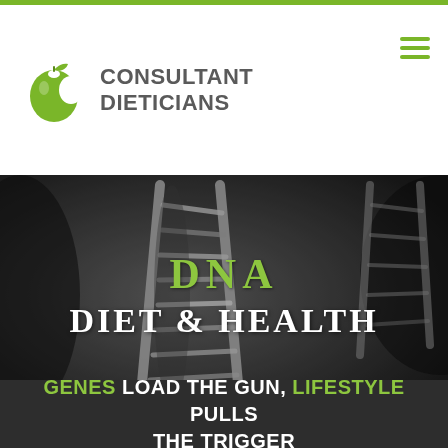[Figure (logo): Consultant Dieticians logo with apple icon and text]
[Figure (photo): Grayscale close-up photo of DNA double helix strands with green 'DNA' text and white 'DIET & HEALTH' text overlaid]
GENES LOAD THE GUN, LIFESTYLE PULLS THE TRIGGER